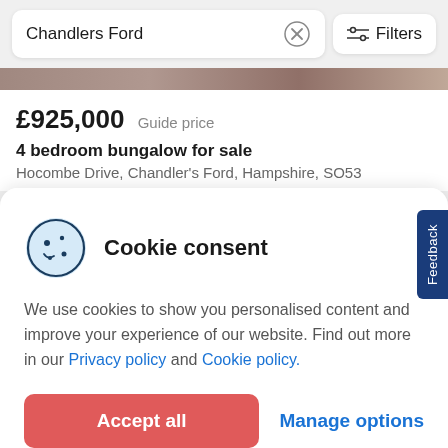Chandlers Ford
Filters
[Figure (photo): Partial property listing image strip at the top]
£925,000 Guide price
4 bedroom bungalow for sale
Hocombe Drive, Chandler's Ford, Hampshire, SO53
Cookie consent
We use cookies to show you personalised content and improve your experience of our website. Find out more in our Privacy policy and Cookie policy.
Accept all
Manage options